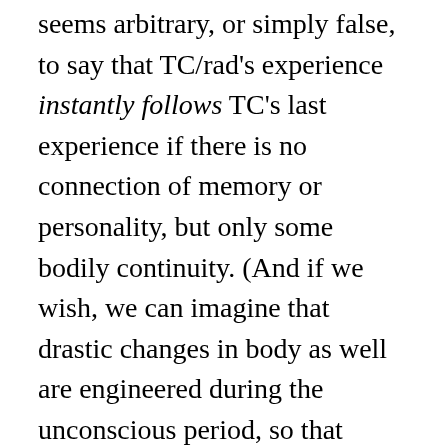seems arbitrary, or simply false, to say that TC/rad's experience instantly follows TC's last experience if there is no connection of memory or personality, but only some bodily continuity. (And if we wish, we can imagine that drastic changes in body as well are engineered during the unconscious period, so that TC/rad looks nothing like his predecessor.) The objective facts are that TC has a last experience, then sometime later TC/rad has a first experience. But despite the lack of personal subjective continuity, despite the fact that one may decide at some point